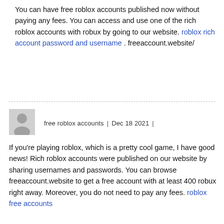You can have free roblox accounts published now without paying any fees. You can access and use one of the rich roblox accounts with robux by going to our website. roblox rich account password and username . freeaccount.website/
[Figure (illustration): Generic user avatar silhouette icon, grey background square]
free roblox accounts | Dec 18 2021 |
If you're playing roblox, which is a pretty cool game, I have good news! Rich roblox accounts were published on our website by sharing usernames and passwords. You can browse freeaccount.website to get a free account with at least 400 robux right away. Moreover, you do not need to pay any fees. roblox free accounts